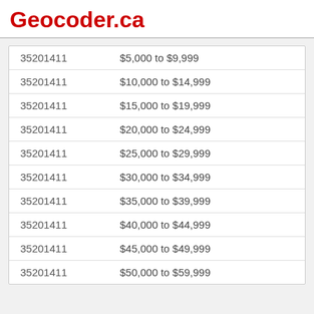Geocoder.ca
| Code | Income Range |
| --- | --- |
| 35201411 | $5,000 to $9,999 |
| 35201411 | $10,000 to $14,999 |
| 35201411 | $15,000 to $19,999 |
| 35201411 | $20,000 to $24,999 |
| 35201411 | $25,000 to $29,999 |
| 35201411 | $30,000 to $34,999 |
| 35201411 | $35,000 to $39,999 |
| 35201411 | $40,000 to $44,999 |
| 35201411 | $45,000 to $49,999 |
| 35201411 | $50,000 to $59,999 |